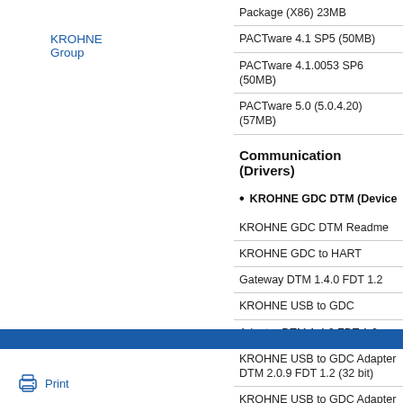KROHNE Group
| Package (X86) 23MB |
| PACTware 4.1 SP5 (50MB) |
| PACTware 4.1.0053 SP6 (50MB) |
| PACTware 5.0 (5.0.4.20) (57MB) |
Communication (Drivers)
KROHNE GDC DTM (Device…)
| KROHNE GDC DTM Readme |
| KROHNE GDC to HART |
| Gateway DTM 1.4.0 FDT 1.2 |
| KROHNE USB to GDC |
| Adapter DTM 1.4.0 FDT 1.2 |
| KROHNE USB to GDC Adapter DTM 2.0.9 FDT 1.2 (32 bit) |
| KROHNE USB to GDC Adapter DTM 2.0.9 FDT 1.2 (64 bit) |
Print